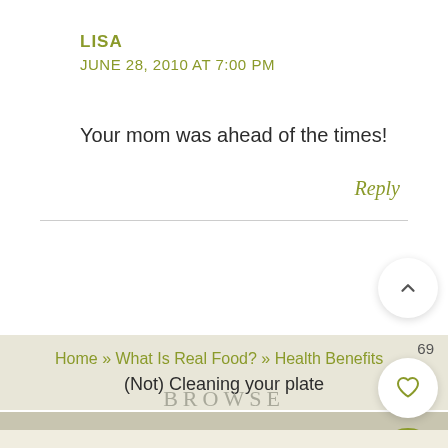LISA
JUNE 28, 2010 AT 7:00 PM
Your mom was ahead of the times!
Reply
69
Home » What Is Real Food? » Health Benefits
(Not) Cleaning your plate
BROWSE